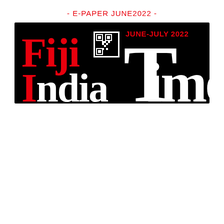- E-PAPER JUNE2022 -
[Figure (logo): Fiji India Times newspaper logo banner on black background with red and white serif text reading 'Fiji India Times' and 'JUNE-JULY 2022' date label with QR code]